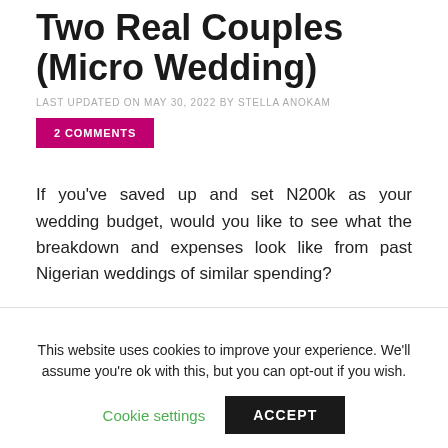Two Real Couples (Micro Wedding)
LAST UPDATED ON MAY 30, 2022 BY STELLA ANOKAM
2 COMMENTS
If you've saved up and set N200k as your wedding budget, would you like to see what the breakdown and expenses look like from past Nigerian weddings of similar spending?
This website uses cookies to improve your experience. We'll assume you're ok with this, but you can opt-out if you wish. Cookie settings ACCEPT